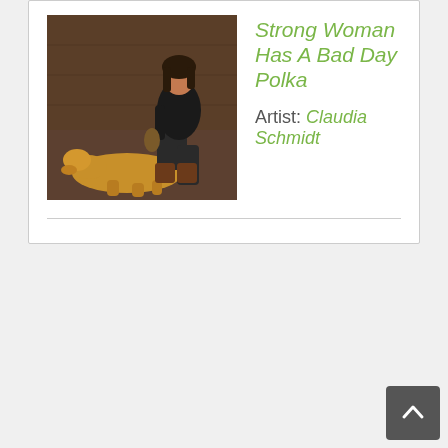[Figure (photo): A woman crouching indoors with a golden/yellow dog lying on the floor beside her. The setting appears to be a wooden interior, low light.]
Strong Woman Has A Bad Day Polka
Artist: Claudia Schmidt